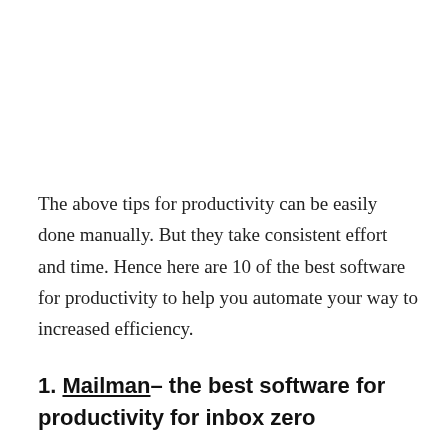The above tips for productivity can be easily done manually. But they take consistent effort and time. Hence here are 10 of the best software for productivity to help you automate your way to increased efficiency.
1. Mailman– the best software for productivity for inbox zero